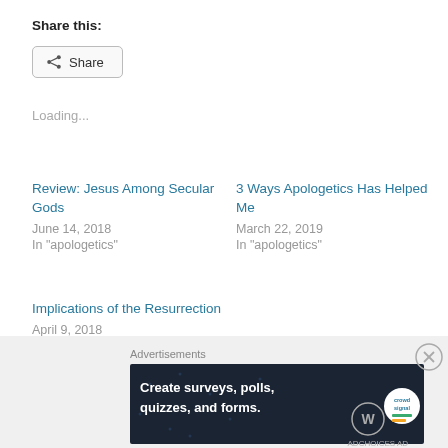Share this:
Share
Loading...
Review: Jesus Among Secular Gods
June 14, 2018
In "apologetics"
3 Ways Apologetics Has Helped Me
March 22, 2019
In "apologetics"
Implications of the Resurrection
April 9, 2018
In "apologetics"
Advertisements
[Figure (screenshot): Advertisement banner: dark navy background with text 'Create surveys, polls, quizzes, and forms.' with WordPress and Crowdsignal logos]